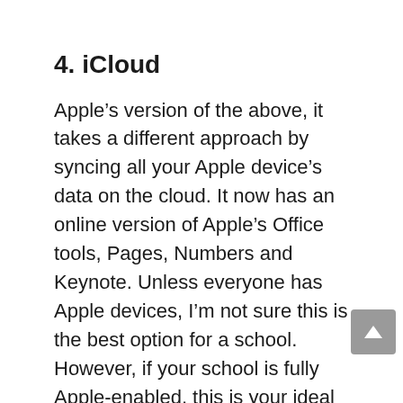4. iCloud
Apple’s version of the above, it takes a different approach by syncing all your Apple device’s data on the cloud. It now has an online version of Apple’s Office tools, Pages, Numbers and Keynote. Unless everyone has Apple devices, I’m not sure this is the best option for a school. However, if your school is fully Apple-enabled, this is your ideal tool.
5. NAS
A NAS is a network storage system and is a machine that you connect to your school network. All the information is stored on this machine rather than on the cloud and might